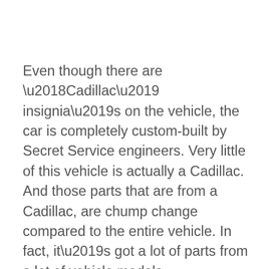Even though there are ‘Cadillac’ insignia’s on the vehicle, the car is completely custom-built by Secret Service engineers. Very little of this vehicle is actually a Cadillac. And those parts that are from a Cadillac, are chump change compared to the entire vehicle. In fact, it’s got a lot of parts from a lot of vehicle models. What’s important is that it’s a completely custom made car designed under GMC and Cadillac monikers to ensure for the people that it is “American-made”.